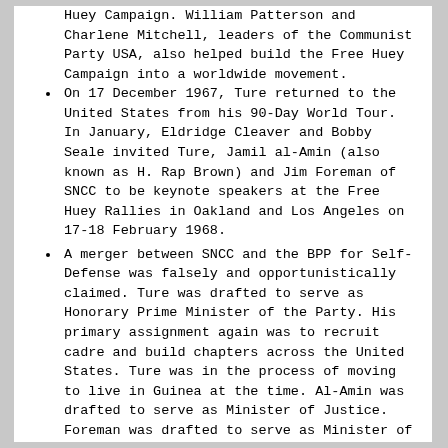Huey Campaign. William Patterson and Charlene Mitchell, leaders of the Communist Party USA, also helped build the Free Huey Campaign into a worldwide movement.
On 17 December 1967, Ture returned to the United States from his 90-Day World Tour. In January, Eldridge Cleaver and Bobby Seale invited Ture, Jamil al-Amin (also known as H. Rap Brown) and Jim Foreman of SNCC to be keynote speakers at the Free Huey Rallies in Oakland and Los Angeles on 17-18 February 1968.
A merger between SNCC and the BPP for Self-Defense was falsely and opportunistically claimed. Ture was drafted to serve as Honorary Prime Minister of the Party. His primary assignment again was to recruit cadre and build chapters across the United States. Ture was in the process of moving to live in Guinea at the time. Al-Amin was drafted to serve as Minister of Justice. Foreman was drafted to serve as Minister of Education.